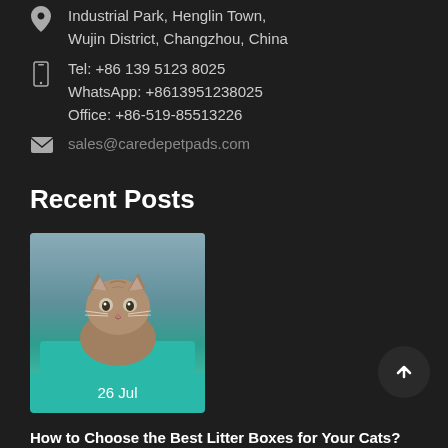Industrial Park, Henglin Town, Wujin District, Changzhou, China
Tel: +86 139 5123 8025
WhatsApp: +8613951238025
Office: +86-519-85513226
sales@caredepetpads.com
Recent Posts
[Figure (photo): A small kitten sitting in a teal/turquoise litter box or container, looking at the camera. Date overlay shows '26 Jul'.]
How to Choose the Best Litter Boxes for Your Cats?
Cat litter boxes are a necessity in households with cats. Let's uncover all the aspects of